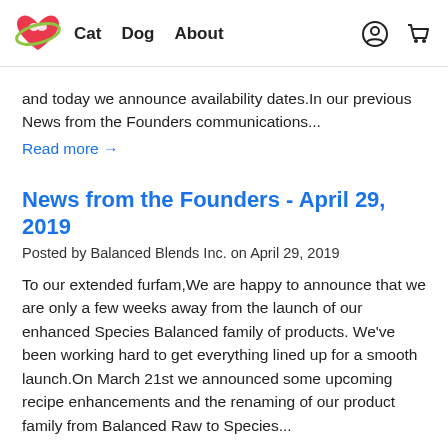Cat  Dog  About
and today we announce availability dates.In our previous News from the Founders communications...
Read more →
News from the Founders - April 29, 2019
Posted by Balanced Blends Inc. on April 29, 2019
To our extended furfam,We are happy to announce that we are only a few weeks away from the launch of our enhanced Species Balanced family of products. We've been working hard to get everything lined up for a smooth launch.On March 21st we announced some upcoming recipe enhancements and the renaming of our product family from Balanced Raw to Species...
Read more →